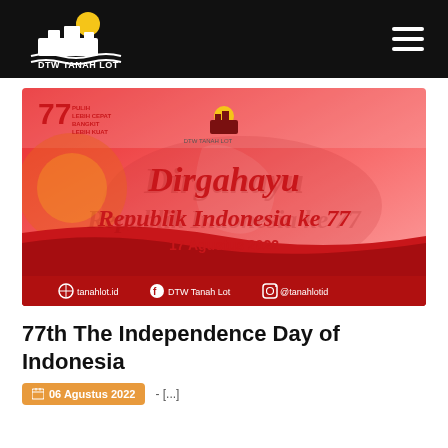DTW TANAH LOT
[Figure (illustration): Promotional banner for Indonesia's 77th Independence Day (Dirgahayu Republik Indonesia ke 77, 17 Agustus 2022) with DTW Tanah Lot branding, red and white colors, Balinese motifs, and social media handles: tanahlot.id, DTW Tanah Lot, @tanahlotid]
77th The Independence Day of Indonesia
06 Agustus 2022  - [...]